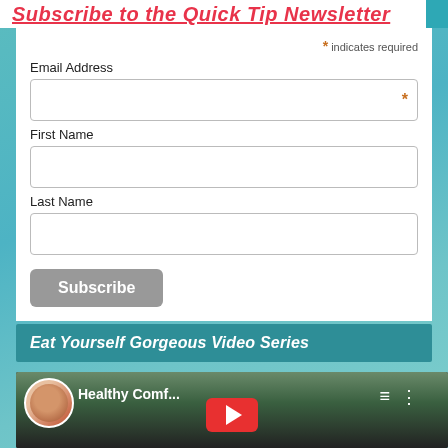Subscribe to the Quick Tip Newsletter
* indicates required
Email Address
First Name
Last Name
Subscribe
Eat Yourself Gorgeous Video Series
[Figure (screenshot): YouTube video thumbnail showing a woman and the title 'Healthy Comf...' with playlist and menu icons, and a YouTube play button]